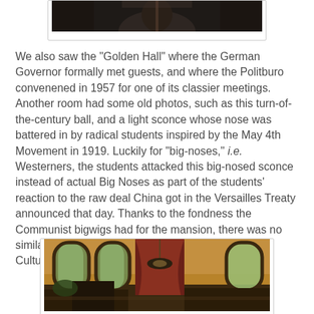[Figure (photo): Top portion of a photo showing a dark indoor scene, partially cropped at the top of the page.]
We also saw the "Golden Hall" where the German Governor formally met guests, and where the Politburo convenened in 1957 for one of its classier meetings.  Another room had some old photos, such as this turn-of-the-century ball, and a light sconce whose nose was battered in by radical students inspired by the May 4th Movement in 1919. Luckily for "big-noses," i.e. Westerners, the students attacked this big-nosed sconce instead of actual Big Noses as part of the students' reaction to the raw deal China got in the Versailles Treaty announced that day.  Thanks to the fondness the Communist bigwigs had for the mansion, there was no similar incident or worse during the far more chaotic Cultural Revolution of the 1960s.
[Figure (photo): Interior photo of a grand room with tall arched windows, dark curtains, wooden furniture, warm amber/orange walls, and a chandelier. Natural light streams through the windows.]